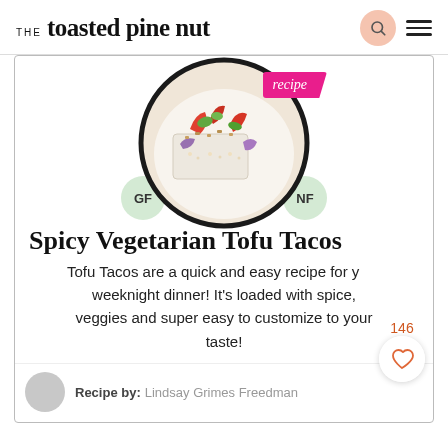THE toasted pine nut
[Figure (photo): Circular cropped photo of Spicy Vegetarian Tofu Tacos dish with colorful toppings, overlaid with a pink 'recipe' label badge]
GF VG EF NF
Spicy Vegetarian Tofu Tacos
146
Tofu Tacos are a quick and easy recipe for your weeknight dinner! It's loaded with spice, veggies and super easy to customize to your taste!
Recipe by: Lindsay Grimes Freedman